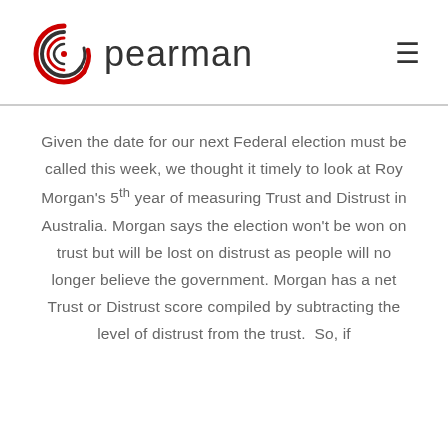[Figure (logo): Pearman logo: circular swirl icon in red and black with the word 'pearman' in dark sans-serif text]
Given the date for our next Federal election must be called this week, we thought it timely to look at Roy Morgan's 5th year of measuring Trust and Distrust in Australia. Morgan says the election won't be won on trust but will be lost on distrust as people will no longer believe the government. Morgan has a net Trust or Distrust score compiled by subtracting the level of distrust from the trust.  So, if